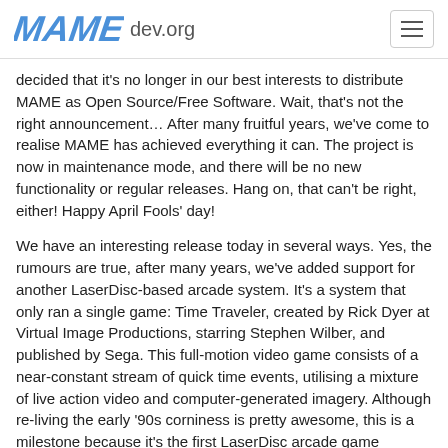MAME dev.org
decided that it's no longer in our best interests to distribute MAME as Open Source/Free Software. Wait, that's not the right announcement… After many fruitful years, we've come to realise MAME has achieved everything it can. The project is now in maintenance mode, and there will be no new functionality or regular releases. Hang on, that can't be right, either! Happy April Fools' day!
We have an interesting release today in several ways. Yes, the rumours are true, after many years, we've added support for another LaserDisc-based arcade system. It's a system that only ran a single game: Time Traveler, created by Rick Dyer at Virtual Image Productions, starring Stephen Wilber, and published by Sega. This full-motion video game consists of a near-constant stream of quick time events, utilising a mixture of live action video and computer-generated imagery. Although re-living the early '90s corniness is pretty awesome, this is a milestone because it's the first LaserDisc arcade game preserved using the Domesday86 Project toolchain. In short, this involves the use of custom hardware to record the raw radio frequency signal from a LaserDisc